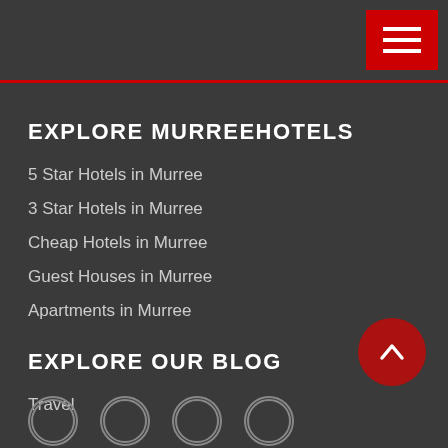[Figure (other): Hamburger menu button (red background with three white horizontal lines) in top-right corner]
EXPLORE MURREEHOTELS
5 Star Hotels in Murree
3 Star Hotels in Murree
Cheap Hotels in Murree
Guest Houses in Murree
Apartments in Murree
EXPLORE OUR BLOG
Travel
SOCIAL CHANNELS
[Figure (other): Row of four circular social media icon placeholders at bottom of page]
[Figure (other): Back to top button — dark red circle with white upward arrow, bottom right corner]